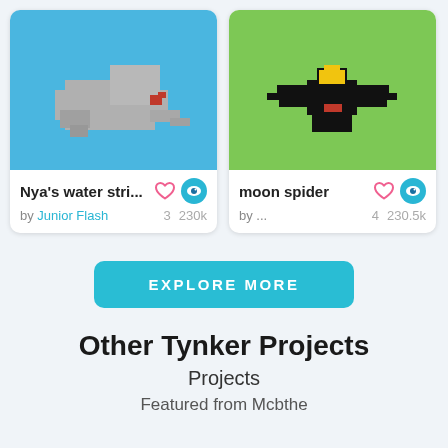[Figure (screenshot): Pixel art of a grey bird/animal on a blue background - game project thumbnail for Nya's water stri...]
Nya's water stri... by Junior Flash 3 230k
[Figure (screenshot): Pixel art of a black spider with yellow on a green background - game project thumbnail for moon spider]
moon spider by ... 4 230.5k
EXPLORE MORE
Other Tynker Projects
Projects
Featured from Mcbthe